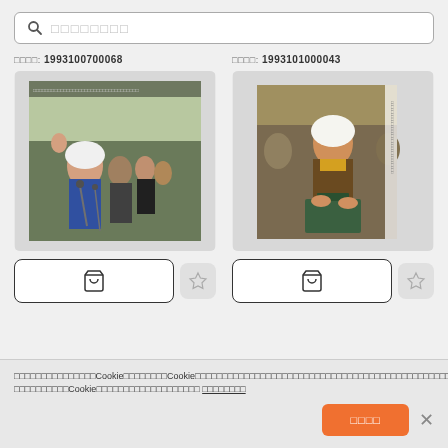Search bar with placeholder text (Japanese/CJK characters)
番号: 1993100700068
番号: 1993101000043
[Figure (photo): Photo of a woman in white headscarf at a political rally, crowd behind her]
[Figure (photo): Photo of a woman in white headscarf casting a vote at a ballot box]
Cookie consent banner with Japanese text mentioning Cookie policy
Accept button (Japanese text) and close button